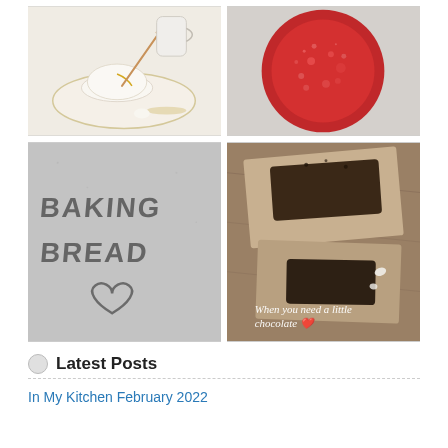[Figure (photo): White panna cotta or pudding on a decorative plate with a honey dipper and small white pitcher in the background]
[Figure (photo): Top-down view of a red drink with bubbles in a red ceramic cup]
[Figure (photo): Flour dusted surface with the words BAKING BREAD and a heart drawn in the flour]
[Figure (photo): Dark chocolate pieces on wooden cutting boards with text overlay: When you need a little chocolate with a red heart emoji]
Latest Posts
In My Kitchen February 2022